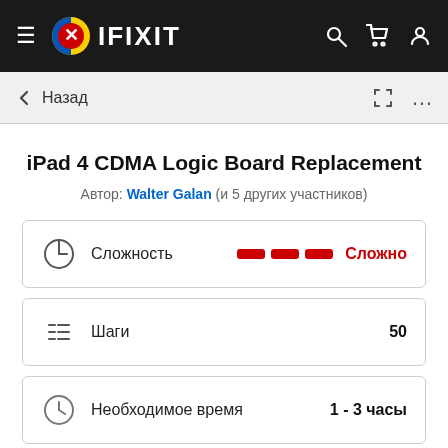IFIXIT
iPad 4 CDMA Logic Board Replacement
Автор: Walter Galan (и 5 других участников)
| Характеристика | Значение |
| --- | --- |
| Сложность | Сложно |
| Шаги | 50 |
| Необходимое время | 1 - 3 часы |